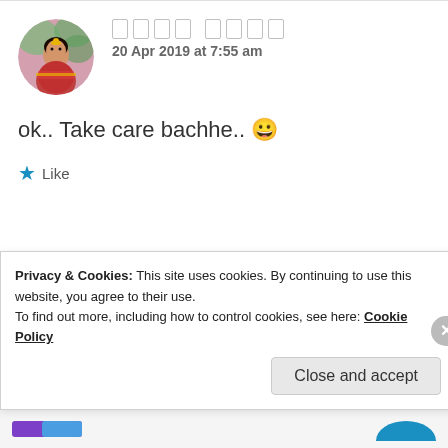[Figure (photo): Circular avatar photo of a woman in traditional South Asian attire with jewelry]
□□□□ □□□□
20 Apr 2019 at 7:55 am
ok.. Take care bachhe.. 😀
★ Like
[Figure (photo): Circular avatar with dark reddish-brown color]
ZEALOUS HOMO SAPIENS
Privacy & Cookies: This site uses cookies. By continuing to use this website, you agree to their use.
To find out more, including how to control cookies, see here: Cookie Policy
Close and accept